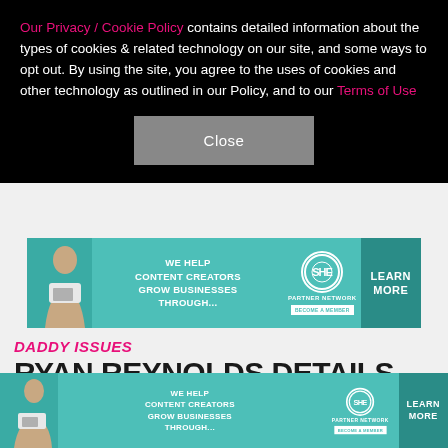Our Privacy / Cookie Policy contains detailed information about the types of cookies & related technology on our site, and some ways to opt out. By using the site, you agree to the uses of cookies and other technology as outlined in our Policy, and to our Terms of Use
[Figure (other): Close button for cookie banner]
[Figure (other): SHE Partner Network advertisement banner - We help content creators grow businesses through...]
DADDY ISSUES
RYAN REYNOLDS DETAILS STRAINED RELATIONSHIP WITH LATE FATHER, QUEST TO PLEASE HIM IRONIC SO
[Figure (other): SHE Partner Network advertisement banner bottom - We help content creators grow businesses through...]